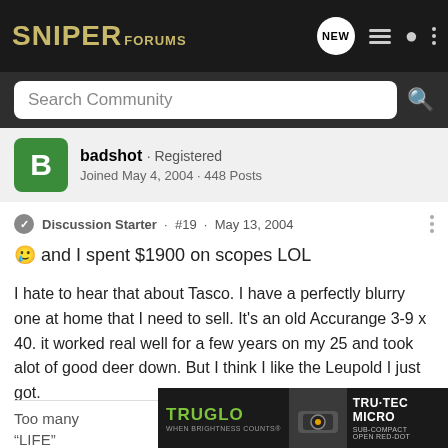SNIPER FORUMS
Search Community
badshot · Registered
Joined May 4, 2004 · 448 Posts
Discussion Starter · #19 · May 13, 2004
🥲 and I spent $1900 on scopes LOL
I hate to hear that about Tasco. I have a perfectly blurry one at home that I need to sell. It's an old Accurange 3-9 x 40. it worked real well for a few years on my 25 and took alot of good deer down. But I think I like the Leupold I just got.
Too many... d
"LIFE"
[Figure (screenshot): TRUGLO advertisement banner showing TRU-TEC MICRO sub-compact open red-dot sight]